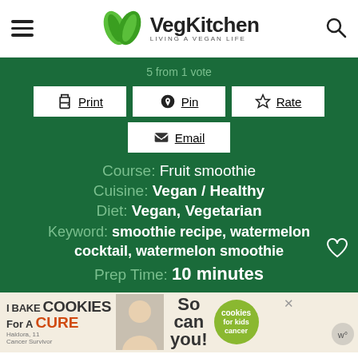VegKitchen — Living a Vegan Life
5 from 1 vote
Print | Pin | Rate
Email
Course: Fruit smoothie
Cuisine: Vegan / Healthy
Diet: Vegan, Vegetarian
Keyword: smoothie recipe, watermelon cocktail, watermelon smoothie
Prep Time: 10 minutes
I Bake COOKIES For A CURE — Haldora, 11 Cancer Survivor — So can you! — cookies for kids cancer